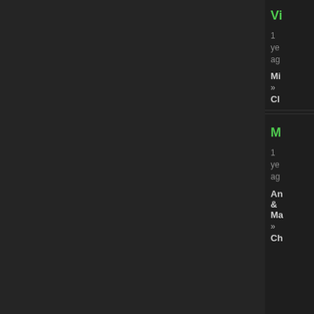Vi
1 year ago
Mi
»
Cl
M
1 year ago
An & Ma
»
Ch